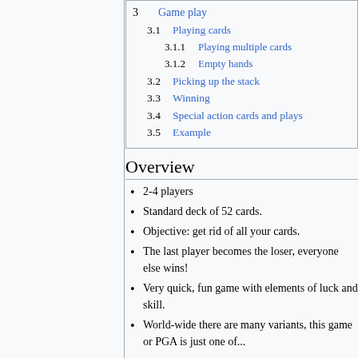3  Game play
3.1  Playing cards
3.1.1  Playing multiple cards
3.1.2  Empty hands
3.2  Picking up the stack
3.3  Winning
3.4  Special action cards and plays
3.5  Example
Overview
2-4 players
Standard deck of 52 cards.
Objective: get rid of all your cards.
The last player becomes the loser, everyone else wins!
Very quick, fun game with elements of luck and skill.
World-wide there are many variants, this game or PGA is just one of...